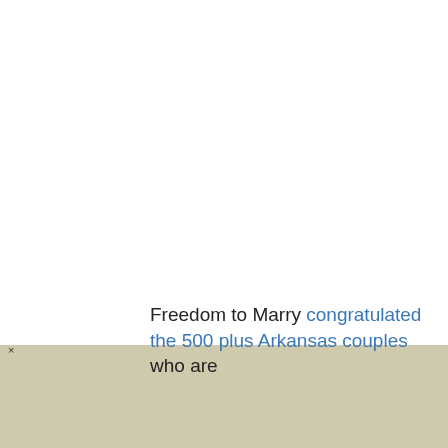Freedom to Marry congratulated the 500 plus Arkansas couples who are